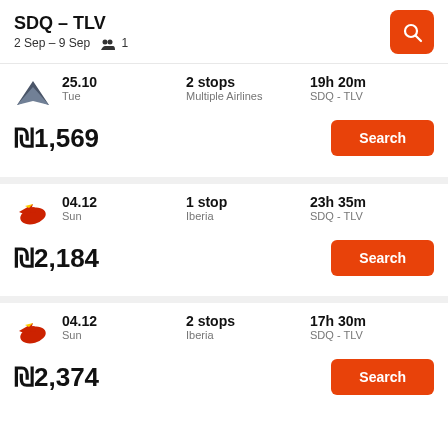SDQ – TLV
2 Sep – 9 Sep  👥 1
25.10  Tue  |  2 stops  Multiple Airlines  |  19h 20m  SDQ - TLV  |  ₪1,569
04.12  Sun  |  1 stop  Iberia  |  23h 35m  SDQ - TLV  |  ₪2,184
04.12  Sun  |  2 stops  Iberia  |  17h 30m  SDQ - TLV  |  ₪2,374